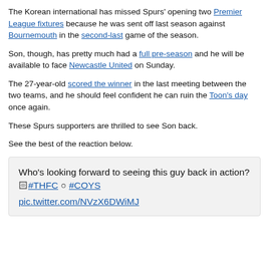The Korean international has missed Spurs' opening two Premier League fixtures because he was sent off last season against Bournemouth in the second-last game of the season.
Son, though, has pretty much had a full pre-season and he will be available to face Newcastle United on Sunday.
The 27-year-old scored the winner in the last meeting between the two teams, and he should feel confident he can ruin the Toon's day once again.
These Spurs supporters are thrilled to see Son back.
See the best of the reaction below.
Who's looking forward to seeing this guy back in action? 🏻#THFC ○ #COYS pic.twitter.com/NVzX6DWiMJ